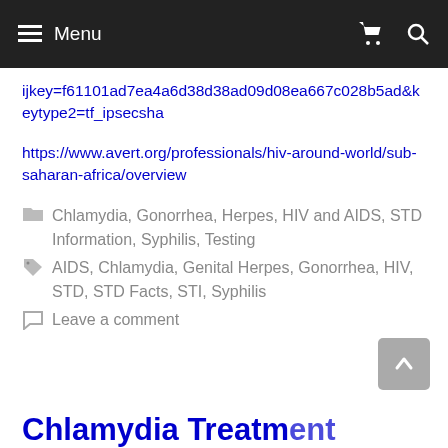Menu
ijkey=f61101ad7ea4a6d38d38ad09d08ea667c028b5ad&keytype2=tf_ipsecsha
https://www.avert.org/professionals/hiv-around-world/sub-saharan-africa/overview
Chlamydia, Gonorrhea, Herpes, HIV and AIDS, STD Information, Syphilis, Testing
AIDS, Chlamydia, Genital Herpes, Gonorrhea, HIV, STD, STD Facts, STI, Syphilis
Leave a comment
Chlamydia Treatment